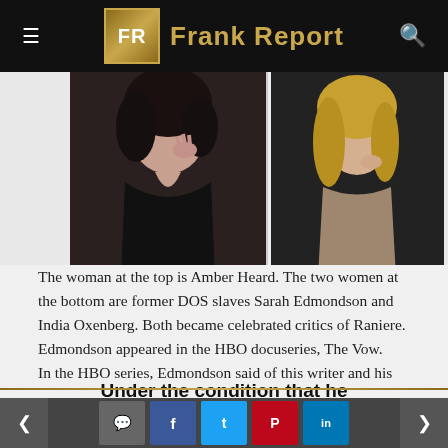FR Frank Report
[Figure (photo): Two side-by-side photos: left shows a dark-haired woman in black outfit, right shows a blonde woman. These are described as Amber Heard (top) and former DOS slaves Sarah Edmondson and India Oxenberg.]
The woman at the top is Amber Heard. The two women at the bottom are former DOS slaves Sarah Edmondson and India Oxenberg. Both became celebrated critics of Raniere. Edmondson appeared in the HBO docuseries, The Vow.
In the HBO series, Edmondson said of this writer and his blog:
Under the condition that he